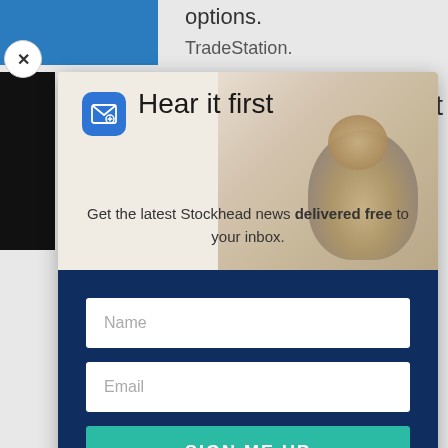options.
TradeStation.
est
[Figure (screenshot): Modal popup overlay on a webpage. Top section has a white background with a groundhog/prairie dog photo on the right side and a blue email icon on the left. Below is a dark navy blue form section with Name and Email input fields and a teal SIGN ME UP button. A close (X) button appears at the top-left of the modal.]
Hear it first
Get the latest Stockhead news delivered free to your inbox.
Name
Email
SIGN ME UP